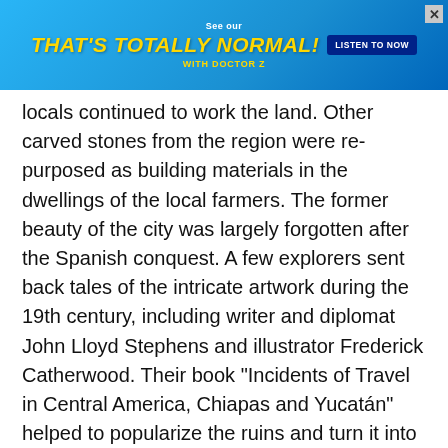[Figure (other): Advertisement banner for 'That's Totally Normal! with Doctor Z' podcast, blue gradient background with yellow title text and dark blue 'Listen to Now' button]
locals continued to work the land. Other carved stones from the region were re-purposed as building materials in the dwellings of the local farmers. The former beauty of the city was largely forgotten after the Spanish conquest. A few explorers sent back tales of the intricate artwork during the 19th century, including writer and diplomat John Lloyd Stephens and illustrator Frederick Catherwood. Their book "Incidents of Travel in Central America, Chiapas and Yucatán" helped to popularize the ruins and turn it into an international tourist destination. While exploring the region, Stephens reportedly bought all of the ruins of Copán for $50, though he never capitalized on his investment.
ADVERTISEMENT